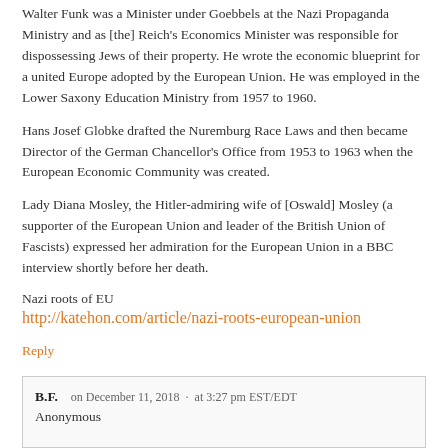Walter Funk was a Minister under Goebbels at the Nazi Propaganda Ministry and as [the] Reich's Economics Minister was responsible for dispossessing Jews of their property. He wrote the economic blueprint for a united Europe adopted by the European Union. He was employed in the Lower Saxony Education Ministry from 1957 to 1960.
Hans Josef Globke drafted the Nuremburg Race Laws and then became Director of the German Chancellor's Office from 1953 to 1963 when the European Economic Community was created.
Lady Diana Mosley, the Hitler-admiring wife of [Oswald] Mosley (a supporter of the European Union and leader of the British Union of Fascists) expressed her admiration for the European Union in a BBC interview shortly before her death.
Nazi roots of EU
http://katehon.com/article/nazi-roots-european-union
Reply
B.F.   on December 11, 2018  ·  at 3:27 pm EST/EDT
Anonymous